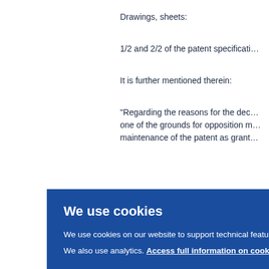Drawings, sheets:
1/2 and 2/2 of the patent specificati…
It is further mentioned therein:
"Regarding the reasons for the dec… one of the grounds for opposition m… maintenance of the patent as grant…
was a…
[Figure (screenshot): Cookie consent banner overlay with blue background. Title: 'We use cookies'. Body text: 'We use cookies on our website to support technical features that enhance your user experience. We also use analytics. Access full information on cookies that we use and how to manage them'. OK button on the right side. Partially overlaps the legal document text behind it.]